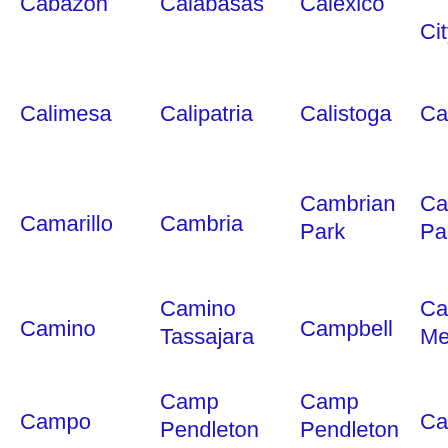Cabazon
Calabasas
Calexico
City
Calimesa
Calipatria
Calistoga
Calle
Camarillo
Cambria
Cambrian Park
Camp Park
Camino
Camino Tassajara
Campbell
Cam Mee
Campo
Camp Pendleton North
Camp Pendleton South
Cano
Canyon Lake
Capitola
Carlsbad
Carm Th